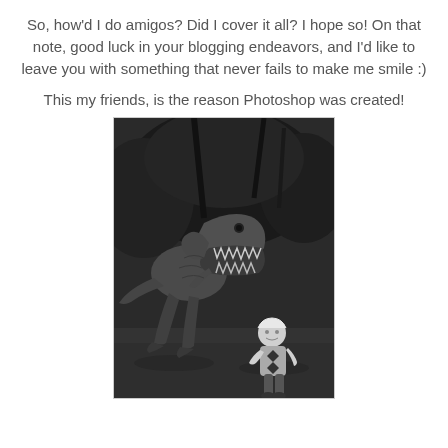So, how'd I do amigos? Did I cover it all? I hope so! On that note, good luck in your blogging endeavors, and I'd like to leave you with something that never fails to make me smile :)
This my friends, is the reason Photoshop was created!
[Figure (photo): Black and white photoshopped image of a young child in a checkered sweater running away from a large T-Rex dinosaur in an outdoor wooded setting.]